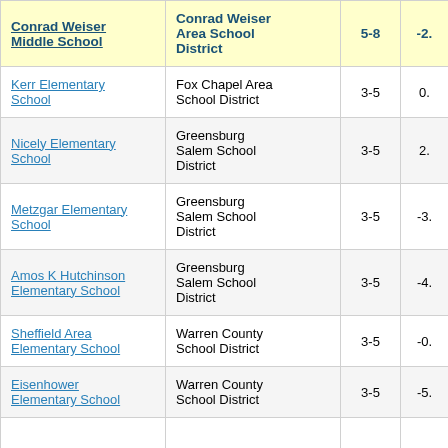|  | Conrad Weiser Area School District | 5-8 | -2. |
| --- | --- | --- | --- |
| Kerr Elementary School | Fox Chapel Area School District | 3-5 | 0. |
| Nicely Elementary School | Greensburg Salem School District | 3-5 | 2. |
| Metzgar Elementary School | Greensburg Salem School District | 3-5 | -3. |
| Amos K Hutchinson Elementary School | Greensburg Salem School District | 3-5 | -4. |
| Sheffield Area Elementary School | Warren County School District | 3-5 | -0. |
| Eisenhower Elementary School | Warren County School District | 3-5 | -5. |
|  |  |  |  |